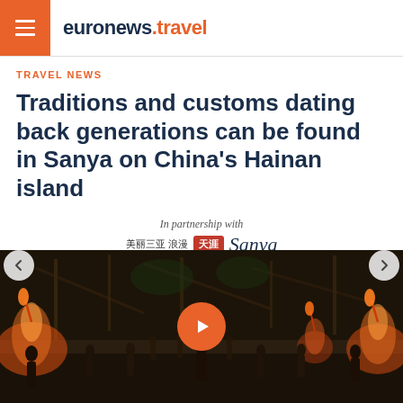euronews.travel
TRAVEL NEWS
Traditions and customs dating back generations can be found in Sanya on China's Hainan island
In partnership with 美丽三亚 浪漫天涯 Forever Tropical Paradise — Sanya
[Figure (photo): Outdoor fire dance cultural performance with multiple performers holding fire torches at night in a tropical setting with bamboo structures, with a red play button overlay in the center]